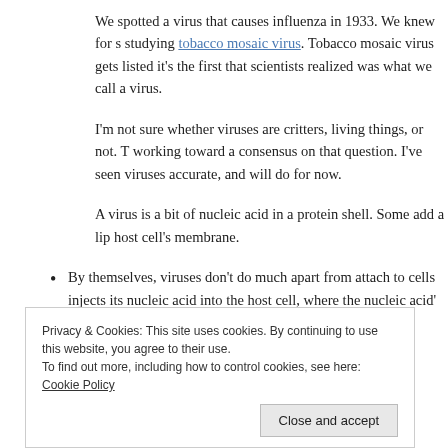We spotted a virus that causes influenza in 1933. We knew for s studying tobacco mosaic virus. Tobacco mosaic virus gets listed it's the first that scientists realized was what we call a virus.
I'm not sure whether viruses are critters, living things, or not. T working toward a consensus on that question. I've seen viruses accurate, and will do for now.
A virus is a bit of nucleic acid in a protein shell. Some add a lip host cell's membrane.
By themselves, viruses don't do much apart from attach to cells injects its nucleic acid into the host cell, where the nucleic acid'
Privacy & Cookies: This site uses cookies. By continuing to use this website, you agree to their use.
To find out more, including how to control cookies, see here: Cookie Policy
Close and accept